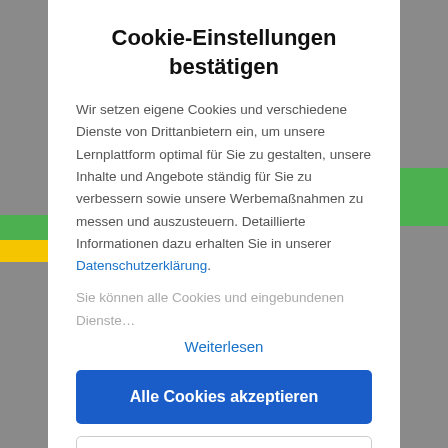Cookie-Einstellungen bestätigen
Wir setzen eigene Cookies und verschiedene Dienste von Drittanbietern ein, um unsere Lernplattform optimal für Sie zu gestalten, unsere Inhalte und Angebote ständig für Sie zu verbessern sowie unsere Werbemaßnahmen zu messen und auszusteuern. Detaillierte Informationen dazu erhalten Sie in unserer Datenschutzerklärung.
Sie können alle Cookies und eingebundenen Dienste…
Weiterlesen
Alle Cookies akzeptieren
Cookies individuell einstellen